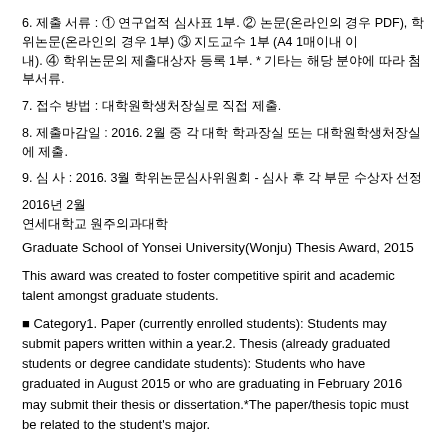6. 제출 서류 : ① 연구업적 심사표 1부. ② 논문(온라인의 경우 PDF), 학위논문(온라인의 경우 1부) ③ 지도교수 1부 (A4 1매이내 이내). ④ 학위논문의 제출대상자 등록 1부. * 기타는 해당 분야에 따라 첨부서류.
7. 접수 방법 : 대학원학생처장실로 직접 제출.
8. 제출마감일 : 2016. 2월 중 각 대학 학과장실 또는 대학원학생처장실에 제출.
9. 심 사 : 2016. 3월 학위논문심사위원회 - 심사 후 각 부문 수상자 선정
2016년 2월
연세대학교 원주의과대학
Graduate School of Yonsei University(Wonju) Thesis Award, 2015
This award was created to foster competitive spirit and academic talent amongst graduate students.
■ Category1. Paper (currently enrolled students): Students may submit papers written within a year.2. Thesis (already graduated students or degree candidate students): Students who have graduated in August 2015 or who are graduating in February 2016 may submit their thesis or dissertation.*The paper/thesis topic must be related to the student's major.